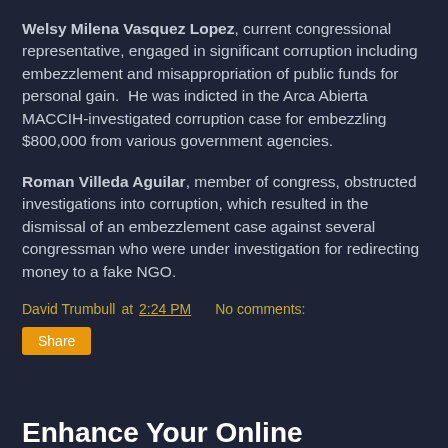Welsy Milena Vasquez Lopez, current congressional representative, engaged in significant corruption including embezzlement and misappropriation of public funds for personal gain.  He was indicted in the Arca Abierta MACCIH-investigated corruption case for embezzling $800,000 from various government agencies.
Roman Villeda Aguilar, member of congress, obstructed investigations into corruption, which resulted in the dismissal of an embezzlement case against several congressman who were under investigation for redirecting money to a fake NGO.
David Trumbull at 2:24 PM   No comments:
Share
Enhance Your Online Business -- Brought to You by OTEXA